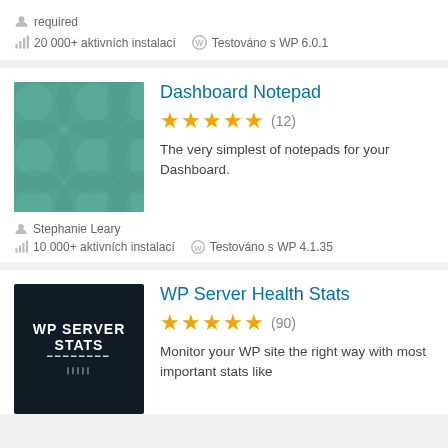required
20 000+ aktivních instalací   Testováno s WP 6.0.1
Dashboard Notepad
4.5 stars (12)
The very simplest of notepads for your Dashboard.
Stephanie Leary
10 000+ aktivních instalací   Testováno s WP 4.1.35
WP Server Health Stats
5 stars (90)
Monitor your WP site the right way with most important stats like